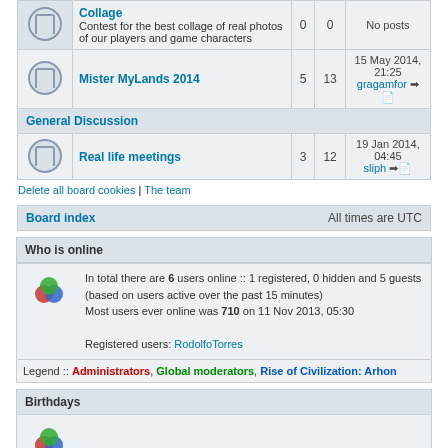|  | Forum | Topics | Posts | Last post |
| --- | --- | --- | --- | --- |
| [icon] | Collage
Contest for the best collage of real photos of our players and game characters | 0 | 0 | No posts |
| [icon] | Mister MyLands 2014 | 5 | 13 | 15 May 2014, 21:25
gragamfor |
| General Discussion |  |  |  |  |
| [icon] | Real life meetings | 3 | 12 | 19 Jan 2014, 04:45
sliph |
Delete all board cookies | The team
Board index   All times are UTC
Who is online
In total there are 6 users online :: 1 registered, 0 hidden and 5 guests (based on users active over the past 15 minutes)
Most users ever online was 710 on 11 Nov 2013, 05:30
Registered users: RodolfoTorres
Legend :: Administrators, Global moderators, Rise of Civilization: Arhon
Birthdays